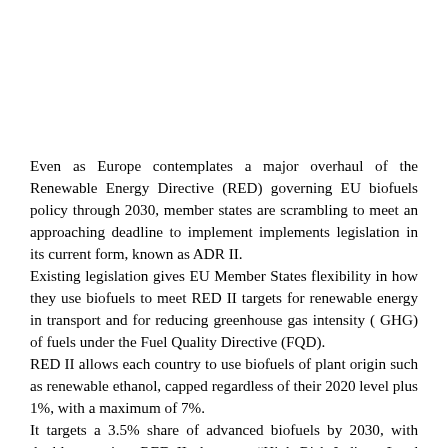Even as Europe contemplates a major overhaul of the Renewable Energy Directive (RED) governing EU biofuels policy through 2030, member states are scrambling to meet an approaching deadline to implement implements legislation in its current form, known as ADR II. Existing legislation gives EU Member States flexibility in how they use biofuels to meet RED II targets for renewable energy in transport and for reducing greenhouse gas intensity ( GHG) of fuels under the Fuel Quality Directive (FQD). RED II allows each country to use biofuels of plant origin such as renewable ethanol, capped regardless of their 2020 level plus 1%, with a maximum of 7%. It targets a 3.5% share of advanced biofuels by 2030, with double counting. RED II also caps “High Risk Indirect Land Use Change (ILUC)” biofuels from levels above 2019 levels.